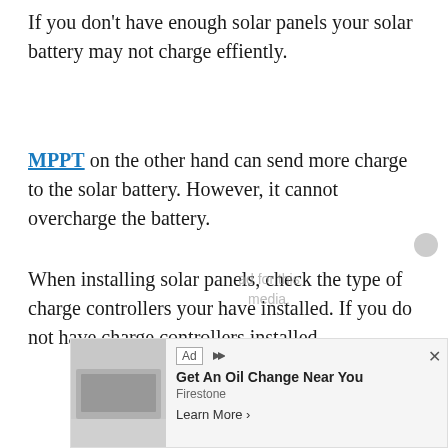If you don't have enough solar panels your solar battery may not charge effiently.
MPPT on the other hand can send more charge to the solar battery. However, it cannot overcharge the battery.
When installing solar panels, check the type of charge controllers your have installed. If you do not have charge controllers installed